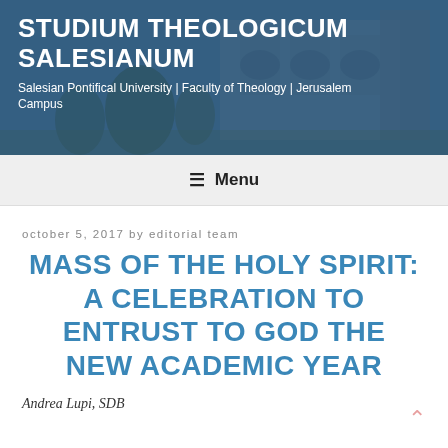[Figure (photo): Header banner with photo of a large stone building (university campus) behind a blue-tinted overlay, with white text overlay showing the institution name and subtitle.]
STUDIUM THEOLOGICUM SALESIANUM
Salesian Pontifical University | Faculty of Theology | Jerusalem Campus
≡  Menu
october 5, 2017 by editorial team
MASS OF THE HOLY SPIRIT: A CELEBRATION TO ENTRUST TO GOD THE NEW ACADEMIC YEAR
Andrea Lupi, SDB